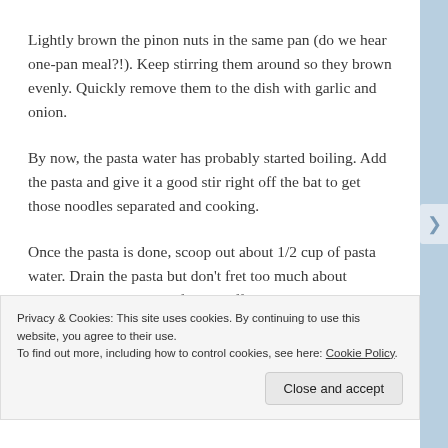Lightly brown the pinon nuts in the same pan (do we hear one-pan meal?!). Keep stirring them around so they brown evenly. Quickly remove them to the dish with garlic and onion.
By now, the pasta water has probably started boiling. Add the pasta and give it a good stir right off the bat to get those noodles separated and cooking.
Once the pasta is done, scoop out about 1/2 cup of pasta water. Drain the pasta but don’t fret too much about getting every last drop of water off the pasta because it’s going to
Privacy & Cookies: This site uses cookies. By continuing to use this website, you agree to their use.
To find out more, including how to control cookies, see here: Cookie Policy
Close and accept